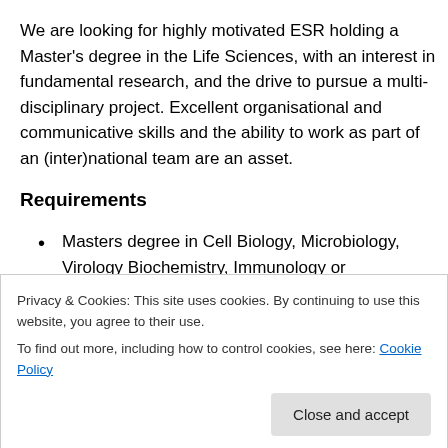We are looking for highly motivated ESR holding a Master's degree in the Life Sciences, with an interest in fundamental research, and the drive to pursue a multi-disciplinary project. Excellent organisational and communicative skills and the ability to work as part of an (inter)national team are an asset.
Requirements
Masters degree in Cell Biology, Microbiology, Virology Biochemistry, Immunology or Pharmaceutical Sciences;
Privacy & Cookies: This site uses cookies. By continuing to use this website, you agree to their use.
To find out more, including how to control cookies, see here: Cookie Policy
skills;